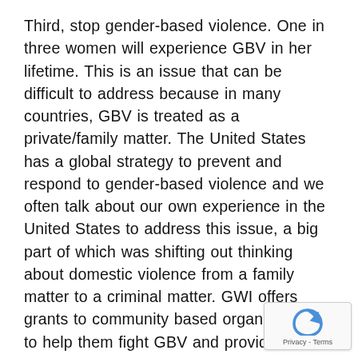Third, stop gender-based violence. One in three women will experience GBV in her lifetime. This is an issue that can be difficult to address because in many countries, GBV is treated as a private/family matter. The United States has a global strategy to prevent and respond to gender-based violence and we often talk about our own experience in the United States to address this issue, a big part of which was shifting out thinking about domestic violence from a family matter to a criminal matter. GWI offers grants to community based organizations to help them fight GBV and provide support for survivors and we also engage with governments to encourage them to enact and enforce needed legislation. We recognize that change must come from both the political and societal levels.
Our final and most recent focus is adolescent gi... many young girls grow up, they often see the world